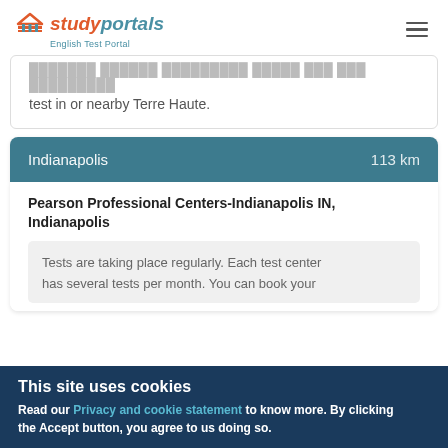studyportals English Test Portal
...test in or nearby Terre Haute.
Indianapolis  113 km
Pearson Professional Centers-Indianapolis IN, Indianapolis
Tests are taking place regularly. Each test center has several tests per month. You can book your
This site uses cookies
Read our Privacy and cookie statement to know more. By clicking the Accept button, you agree to us doing so.